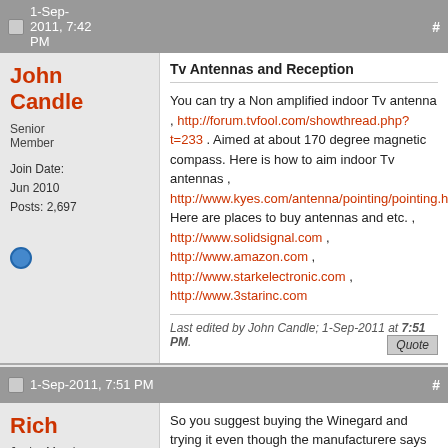1-Sep-2011, 7:42 PM  #
John Candle
Senior Member
Join Date: Jun 2010
Posts: 2,697
Tv Antennas and Reception
You can try a Non amplified indoor Tv antenna , http://forum.tvfool.com/showthread.php?t=233 . Aimed at about 170 degree magnetic compass. Here is how to aim indoor Tv antennas , http://www.kyes.com/antenna/pointing/pointing.htm Here are places to buy antennas and etc. , http://www.solidsignal.com , http://www.amazon.com , http://www.starkelectronic.com , http://www.3starinc.com
Last edited by John Candle; 1-Sep-2011 at 7:51 PM.
1-Sep-2011, 7:51 PM  #
Rich
Junior Member
Join Date: Aug 2011
Posts: 20
So you suggest buying the Winegard and trying it even though the manufacturere says might not work? Does the wall of a hosue really make that much difference in signal?

Finally, is there a small, non-obtrusive outdoor antenna that